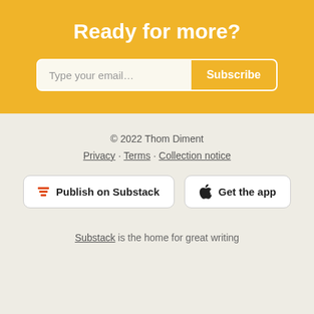Ready for more?
Type your email... Subscribe
© 2022 Thom Diment
Privacy · Terms · Collection notice
Publish on Substack
Get the app
Substack is the home for great writing